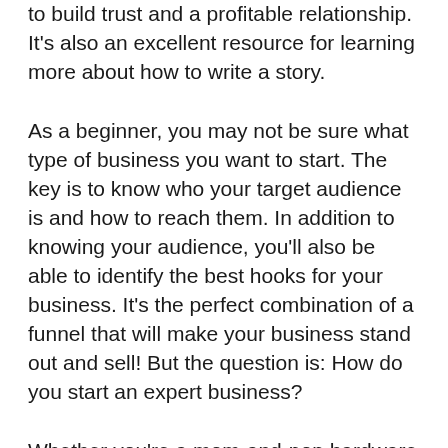to build trust and a profitable relationship. It's also an excellent resource for learning more about how to write a story.
As a beginner, you may not be sure what type of business you want to start. The key is to know who your target audience is and how to reach them. In addition to knowing your audience, you'll also be able to identify the best hooks for your business. It's the perfect combination of a funnel that will make your business stand out and sell! But the question is: How do you start an expert business?
Whether you're a mom-and-pop hardware store or a high-ticket coach, this book will show you how to turn an abstract idea into a